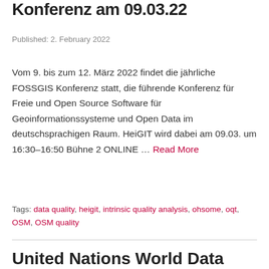Konferenz am 09.03.22
Published: 2. February 2022
Vom 9. bis zum 12. März 2022 findet die jährliche FOSSGIS Konferenz statt, die führende Konferenz für Freie und Open Source Software für Geoinformationssysteme und Open Data im deutschsprachigen Raum. HeiGIT wird dabei am 09.03. um 16:30–16:50 Bühne 2 ONLINE … Read More
Tags: data quality, heigit, intrinsic quality analysis, ohsome, oqt, OSM, OSM quality
United Nations World Data Forum Blog on